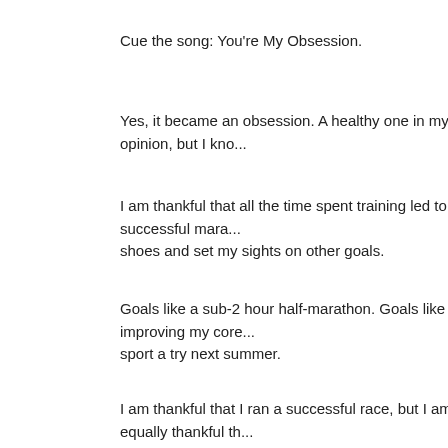Cue the song: You're My Obsession.
Yes, it became an obsession. A healthy one in my opinion, but I kno...
I am thankful that all the time spent training led to a successful mara... shoes and set my sights on other goals.
Goals like a sub-2 hour half-marathon. Goals like improving my core... sport a try next summer.
I am thankful that I ran a successful race, but I am equally thankful th...
Posted by Lisa from Lisa's Yarns at
Labels: Giving t...
Thursday, November 11, 2010
TEN DAYS OF THANKSGIVING: DAY 2
First off - thank you for your kind, sweet comments yesterday! Thank...
Now onto Day 2...